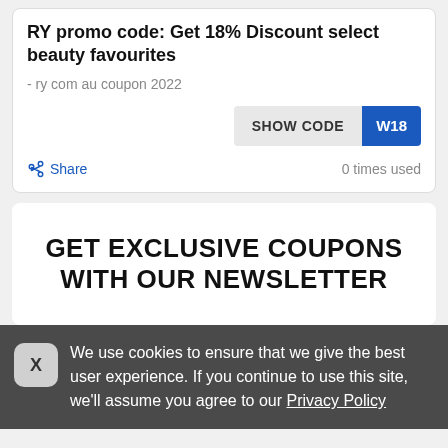RY promo code: Get 18% Discount select beauty favourites
- ry com au coupon 2022
SHOW CODE W18
Share   0 times used
GET EXCLUSIVE COUPONS WITH OUR NEWSLETTER
We use cookies to ensure that we give the best user experience. If you continue to use this site, we'll assume you agree to our Privacy Policy